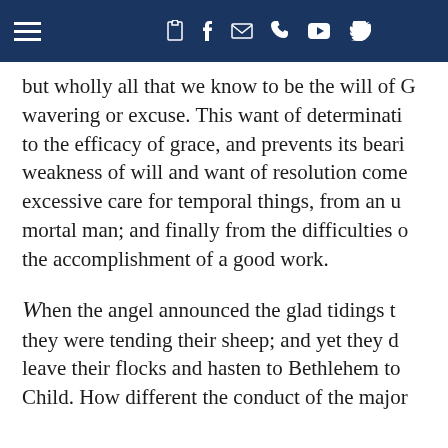≡  f  ✉  📞  ▶  🐦
but wholly all that we know to be the will of G… wavering or excuse. This want of determinati… to the efficacy of grace, and prevents its beari… weakness of will and want of resolution come… excessive care for temporal things, from an u… mortal man; and finally from the difficulties … the accomplishment of a good work.
When the angel announced the glad tidings t… they were tending their sheep; and yet they d… leave their flocks and hasten to Bethlehem to… Child. How different the conduct of the major…